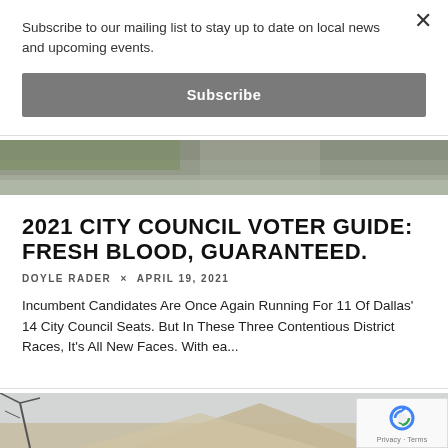Subscribe to our mailing list to stay up to date on local news and upcoming events.
Subscribe
[Figure (photo): Aerial or ground-level photo strip showing green grass and roadway or building structure]
2021 CITY COUNCIL VOTER GUIDE: FRESH BLOOD, GUARANTEED.
DOYLE RADER × APRIL 19, 2021
Incumbent Candidates Are Once Again Running For 11 Of Dallas' 14 City Council Seats. But In These Three Contentious District Races, It's All New Faces. With ea...
[Figure (photo): Architectural photo of angular building with geometric roof lines against a light sky, with tree branches visible on the left side]